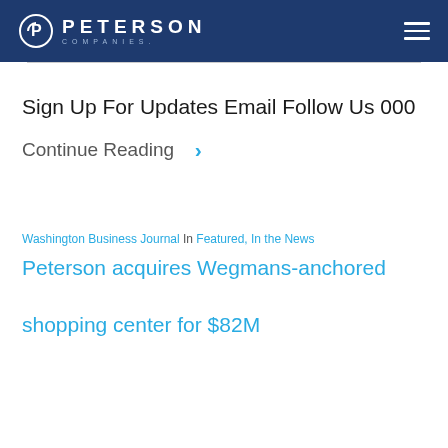PETERSON COMPANIES.
Sign Up For Updates Email Follow Us 000
Continue Reading >
Washington Business Journal In Featured, In the News
Peterson acquires Wegmans-anchored shopping center for $82M